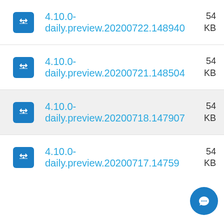4.10.0-daily.preview.20200722.148940
4.10.0-daily.preview.20200721.148504
4.10.0-daily.preview.20200718.147907
4.10.0-daily.preview.20200717.14759...
[Figure (illustration): Chat/support button (circular blue button with speech bubble icon) in bottom-right corner]